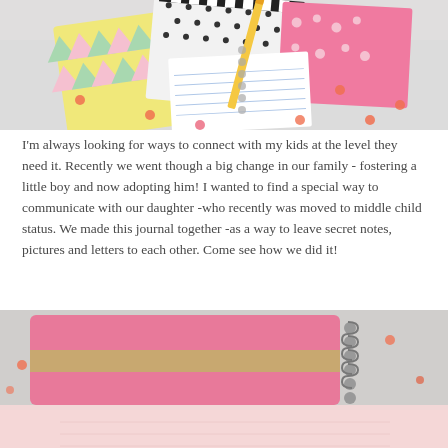[Figure (photo): Top-down view of colorful spiral notebooks, notepads with geometric patterns (triangles, polka dots), a pencil, pink confetti dots on a light gray background]
I'm always looking for ways to connect with my kids at the level they need it. Recently we went though a big change in our family - fostering a little boy and now adopting him! I wanted to find a special way to communicate with our daughter -who recently was moved to middle child status. We made this journal together -as a way to leave secret notes, pictures and letters to each other. Come see how we did it!
[Figure (photo): Close-up of a pink spiral-bound journal/notebook with a gold/tan stripe band, silver spiral binding, on a light gray surface with orange and pink confetti dots. Bottom portion is light pink/blurred.]